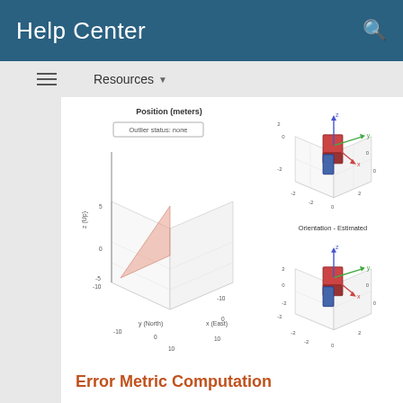Help Center
Resources
[Figure (engineering-diagram): 3D position plot showing outlier status cone in x (East), y (North), z (Up) coordinate system with a pink/salmon shaded cone region and axis labels. Title: Position (meters), with label 'Outlier status: none'.]
[Figure (engineering-diagram): Two small 3D orientation diagrams showing red/blue cube with coordinate axes (x, y, z arrows in red, green, blue). Top one unlabeled, bottom labeled 'Orientation - Estimated'.]
Error Metric Computation
Calculate the position error for both filter estimates. There is an increase in the position error in the filter that does not check for any outliers in the GPS measurements.
% Calculate position errors.
posdNoCheck = estPositionNoCheck - truePositio
posd = estPosition - truePosition;